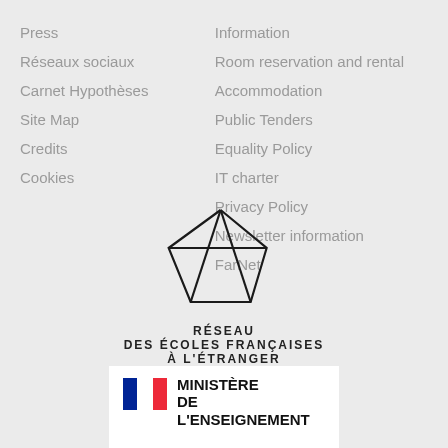Press
Réseaux sociaux
Carnet Hypothèses
Site Map
Credits
Cookies
Information
Room reservation and rental
Accommodation
Public Tenders
Equality Policy
IT charter
Privacy Policy
Newsletter information
FarNet
[Figure (logo): Réseau des Écoles Françaises à l'Étranger geometric logo — an angular polygon shape made of line segments, with text below reading RÉSEAU DES ÉCOLES FRANÇAISES À L'ÉTRANGER]
[Figure (logo): Ministère de l'Enseignement logo with French flag tricolor icon and bold text MINISTÈRE DE L'ENSEIGNEMENT]